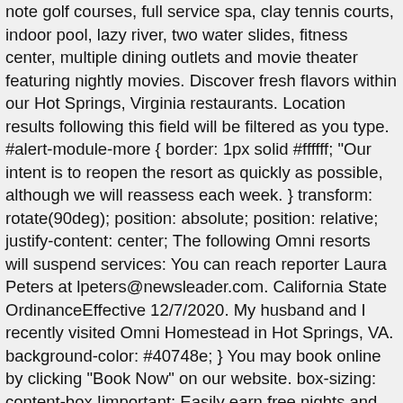note golf courses, full service spa, clay tennis courts, indoor pool, lazy river, two water slides, fitness center, multiple dining outlets and movie theater featuring nightly movies. Discover fresh flavors within our Hot Springs, Virginia restaurants. Location results following this field will be filtered as you type. #alert-module-more { border: 1px solid #ffffff; "Our intent is to reopen the resort as quickly as possible, although we will reassess each week. } transform: rotate(90deg); position: absolute; position: relative; justify-content: center; The following Omni resorts will suspend services: You can reach reporter Laura Peters at lpeters@newsleader.com. California State OrdinanceEffective 12/7/2020. My husband and I recently visited Omni Homestead in Hot Springs, VA. background-color: #40748e; } You may book online by clicking "Book Now" on our website. box-sizing: content-box !important; Easily earn free nights and redeem at any of our 50+ Omni hotels or resorts. We are also ensuring our associates have disposable wipes with them at all times to clean commonly used surfaces like elevator buttons. vertical-align: